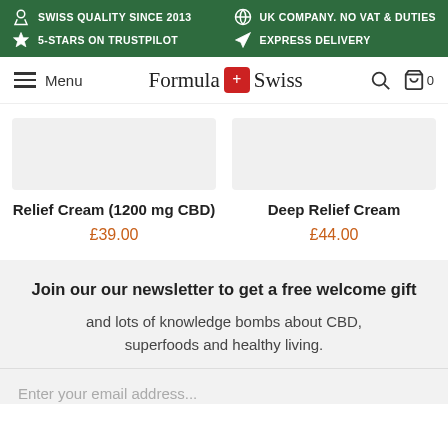SWISS QUALITY SINCE 2013 | 5-STARS ON TRUSTPILOT | UK COMPANY. NO VAT & DUTIES | EXPRESS DELIVERY
[Figure (screenshot): Formula Swiss website navigation bar with hamburger menu, Formula Swiss logo with red cross icon, search icon, and cart with 0 items]
Relief Cream (1200 mg CBD)
£39.00
Deep Relief Cream
£44.00
Join our our newsletter to get a free welcome gift and lots of knowledge bombs about CBD, superfoods and healthy living.
Enter your email address...